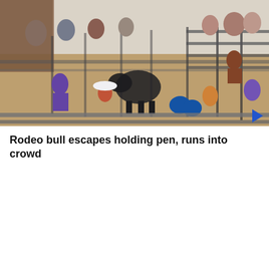[Figure (photo): Video thumbnail showing an elderly person with white hair being approached by someone in a pink striped shirt, partially cropped news video screenshot]
Senior targeted in jewelry distraction theft
[Figure (photo): Video thumbnail showing a rodeo bull that has escaped a holding pen in an indoor arena, with many people scrambling and running around, some climbing fences, others crouching on the ground]
Rodeo bull escapes holding pen, runs into crowd